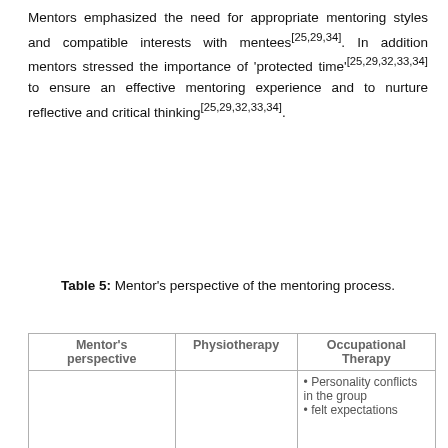Mentors emphasized the need for appropriate mentoring styles and compatible interests with mentees[25,29,34]. In addition mentors stressed the importance of 'protected time'[25,29,32,33,34] to ensure an effective mentoring experience and to nurture reflective and critical thinking[25,29,32,33,34].
Table 5: Mentor's perspective of the mentoring process.
| Mentor's perspective | Physiotherapy | Occupational Therapy |
| --- | --- | --- |
|  |  | • Personality conflicts in the group
• felt expectations |